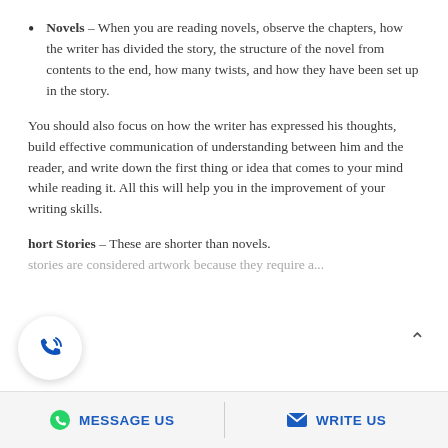Novels – When you are reading novels, observe the chapters, how the writer has divided the story, the structure of the novel from contents to the end, how many twists, and how they have been set up in the story.
You should also focus on how the writer has expressed his thoughts, build effective communication of understanding between him and the reader, and write down the first thing or idea that comes to your mind while reading it. All this will help you in the improvement of your writing skills.
Short Stories – These are shorter than novels. stories are considered artwork because they require a...
MESSAGE US   WRITE US